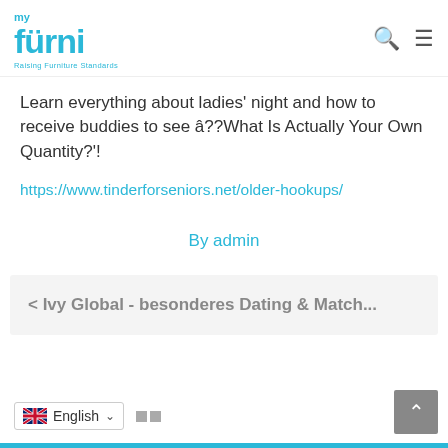my furni - Raising Furniture Standards
Learn everything about ladies' night and how to receive buddies to see â??What Is Actually Your Own Quantity?'!
https://www.tinderforseniors.net/older-hookups/
By admin
< Ivy Global - besonderes Dating & Match...
English